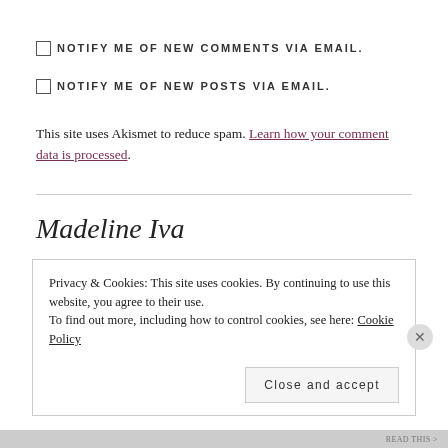NOTIFY ME OF NEW COMMENTS VIA EMAIL.
NOTIFY ME OF NEW POSTS VIA EMAIL.
This site uses Akismet to reduce spam. Learn how your comment data is processed.
Madeline Iva
Privacy & Cookies: This site uses cookies. By continuing to use this website, you agree to their use.
To find out more, including how to control cookies, see here: Cookie Policy
Close and accept